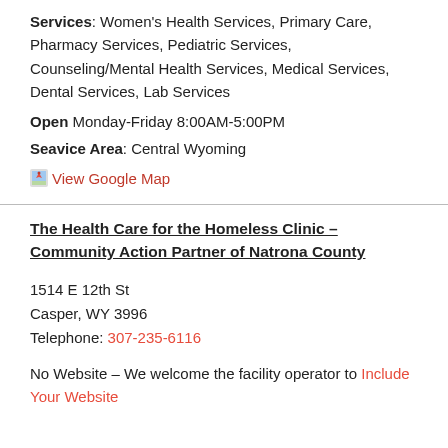Services: Women's Health Services, Primary Care, Pharmacy Services, Pediatric Services, Counseling/Mental Health Services, Medical Services, Dental Services, Lab Services
Open Monday-Friday 8:00AM-5:00PM
Seavice Area: Central Wyoming
[Figure (other): View Google Map link with small map pin icon]
The Health Care for the Homeless Clinic – Community Action Partner of Natrona County
1514 E 12th St
Casper, WY 3996
Telephone: 307-235-6116
No Website – We welcome the facility operator to Include Your Website